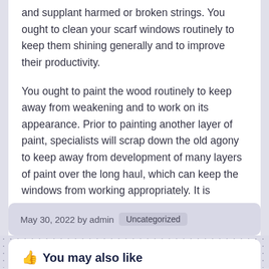and supplant harmed or broken strings. You ought to clean your scarf windows routinely to keep them shining generally and to improve their productivity.
You ought to paint the wood routinely to keep away from weakening and to work on its appearance. Prior to painting another layer of paint, specialists will scrap down the old agony to keep away from development of many layers of paint over the long haul, which can keep the windows from working appropriately. It is imperative to review your windows consistently to identify early indications of any issue.
May 30, 2022 by admin  Uncategorized
You may also like